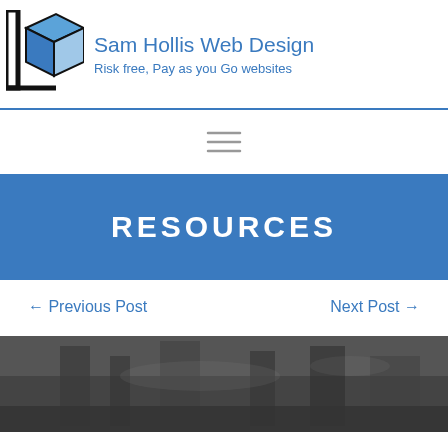Sam Hollis Web Design
Risk free, Pay as you Go websites
[Figure (logo): Abstract geometric cube/box logo in black and blue]
[Figure (infographic): Hamburger menu icon (three horizontal lines)]
RESOURCES
← Previous Post
Next Post →
[Figure (photo): Black and white photo of what appears to be a bar or workshop interior]